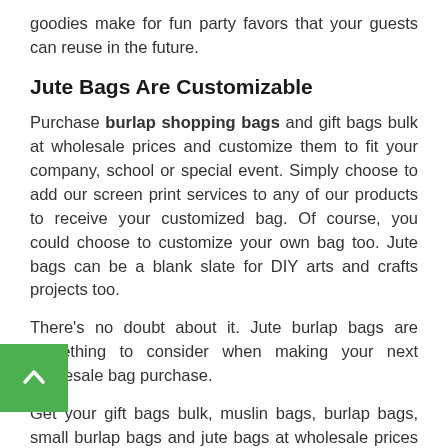goodies make for fun party favors that your guests can reuse in the future.
Jute Bags Are Customizable
Purchase burlap shopping bags and gift bags bulk at wholesale prices and customize them to fit your company, school or special event. Simply choose to add our screen print services to any of our products to receive your customized bag. Of course, you could choose to customize your own bag too. Jute bags can be a blank slate for DIY arts and crafts projects too.
There's no doubt about it. Jute burlap bags are something to consider when making your next wholesale bag purchase.
Get your gift bags bulk, muslin bags, burlap bags, small burlap bags and jute bags at wholesale prices from zDepot.com with confidence.
At BagzDepot.com we provide the best customer service 24/7 and lowest prices guaranteed on the web.